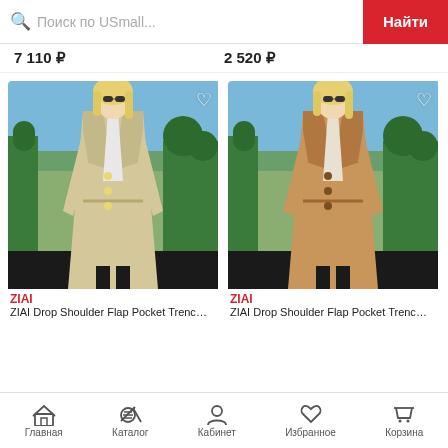Поиск по USmall...  Найти
7 110 ₽  2 520 ₽
[Figure (photo): Woman in beige/cream drop shoulder trench coat standing outdoors in front of green topiary sculptures]
ZIAI
ZIAI Drop Shoulder Flap Pocket Trench...
[Figure (photo): Woman in camel/tan drop shoulder trench coat standing outdoors in front of green topiary sculptures]
ZIAI
ZIAI Drop Shoulder Flap Pocket Trench...
Главная  Каталог  Кабинет  Избранное  Корзина